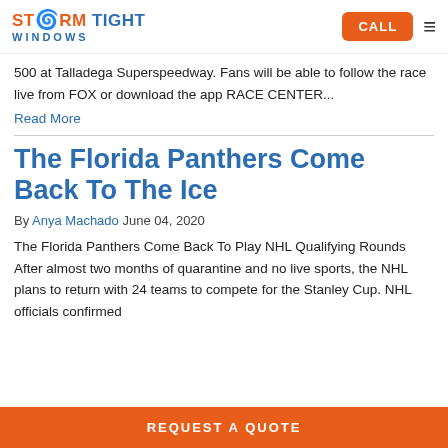Storm Tight Windows | CALL
500 at Talladega Superspeedway. Fans will be able to follow the race live from FOX or download the app RACE CENTER...
Read More
The Florida Panthers Come Back To The Ice
By Anya Machado June 04, 2020
The Florida Panthers Come Back To Play NHL Qualifying Rounds After almost two months of quarantine and no live sports, the NHL plans to return with 24 teams to compete for the Stanley Cup. NHL officials confirmed
REQUEST A QUOTE